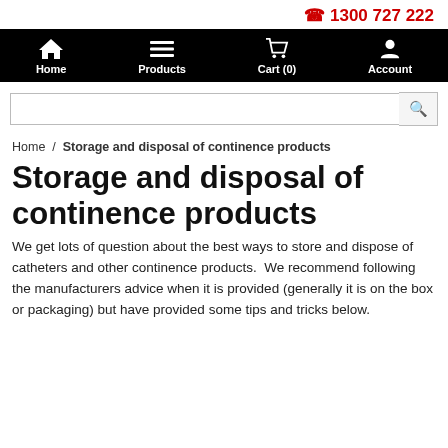1300 727 222
[Figure (screenshot): Navigation bar with Home, Products, Cart (0), and Account icons on black background]
[Figure (screenshot): Search input box with magnifying glass button]
Home / Storage and disposal of continence products
Storage and disposal of continence products
We get lots of question about the best ways to store and dispose of catheters and other continence products.  We recommend following the manufacturers advice when it is provided (generally it is on the box or packaging) but have provided some tips and tricks below.